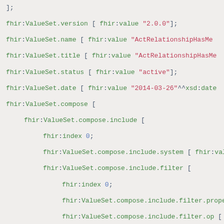];
fhir:ValueSet.version [ fhir:value "2.0.0"];
fhir:ValueSet.name [ fhir:value "ActRelationshipHasMe
fhir:ValueSet.title [ fhir:value "ActRelationshipHasMe
fhir:ValueSet.status [ fhir:value "active"];
fhir:ValueSet.date [ fhir:value "2014-03-26"^^xsd:date
fhir:ValueSet.compose [
fhir:ValueSet.compose.include [
fhir:index 0;
fhir:ValueSet.compose.include.system [ fhir:value
fhir:ValueSet.compose.include.filter [
fhir:index 0;
fhir:ValueSet.compose.include.filter.property
fhir:ValueSet.compose.include.filter.op [ fhir
fhir:ValueSet.compose.include.filter.value [ fh
].
# - ontology header ---
a owl:Ontology;
owl:imports fhir:fhir.ttl.